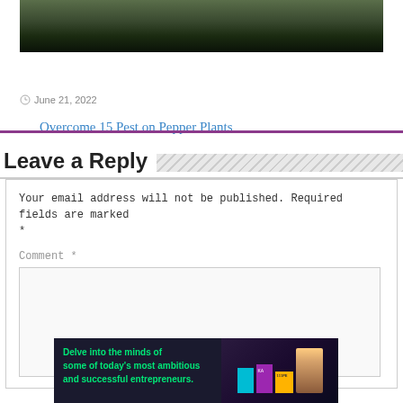[Figure (photo): Close-up photo of aphids or small insects on a pepper plant leaf, dark green background with small white/light colored insects]
Overcome 15 Pest on Pepper Plants
⊙ June 21, 2022
Leave a Reply
Your email address will not be published. Required fields are marked *
Comment *
[Figure (screenshot): Advertisement banner: 'Delve into the minds of some of today's most ambitious and successful entrepreneurs.' with book covers and a person on the right side]